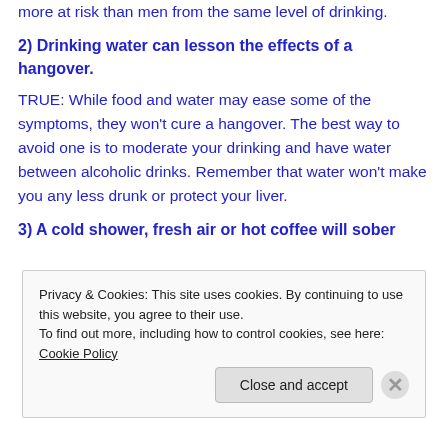more at risk than men from the same level of drinking.
2) Drinking water can lesson the effects of a hangover.
TRUE: While food and water may ease some of the symptoms, they won't cure a hangover. The best way to avoid one is to moderate your drinking and have water between alcoholic drinks. Remember that water won't make you any less drunk or protect your liver.
3) A cold shower, fresh air or hot coffee will sober
Privacy & Cookies: This site uses cookies. By continuing to use this website, you agree to their use.
To find out more, including how to control cookies, see here: Cookie Policy